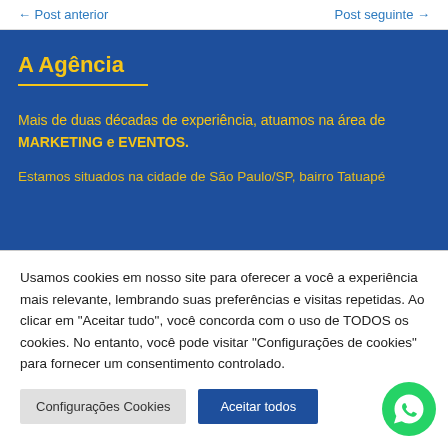← Post anterior    Post seguinte →
A Agência
Mais de duas décadas de experiência, atuamos na área de MARKETING e EVENTOS.
Estamos situados na cidade de São Paulo/SP, bairro Tatuapé
Usamos cookies em nosso site para oferecer a você a experiência mais relevante, lembrando suas preferências e visitas repetidas. Ao clicar em "Aceitar tudo", você concorda com o uso de TODOS os cookies. No entanto, você pode visitar "Configurações de cookies" para fornecer um consentimento controlado.